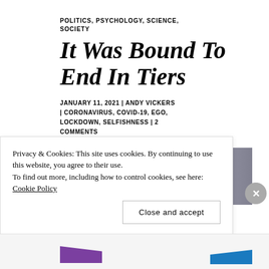POLITICS, PSYCHOLOGY, SCIENCE, SOCIETY
It Was Bound To End In Tiers
JANUARY 11, 2021 | ANDY VICKERS | CORONAVIRUS, COVID-19, EGO, LOCKDOWN, SELFISHNESS | 2 COMMENTS
[Figure (photo): Street scene with people walking, blurred background with green and yellow elements]
Privacy & Cookies: This site uses cookies. By continuing to use this website, you agree to their use.
To find out more, including how to control cookies, see here: Cookie Policy
Close and accept